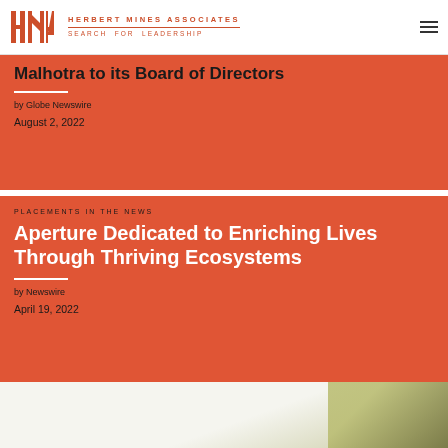HERBERT MINES ASSOCIATES SEARCH FOR LEADERSHIP
Malhotra to its Board of Directors
by Globe Newswire
August 2, 2022
PLACEMENTS IN THE NEWS
Aperture Dedicated to Enriching Lives Through Thriving Ecosystems
by Newswire
April 19, 2022